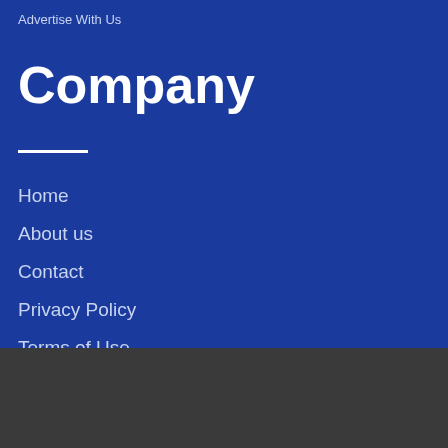Advertise With Us
Company
Home
About us
Contact
Privacy Policy
Terms of Use
This website uses cookies to ensure you get the best experience on our website. Learn more
Okay, thanks